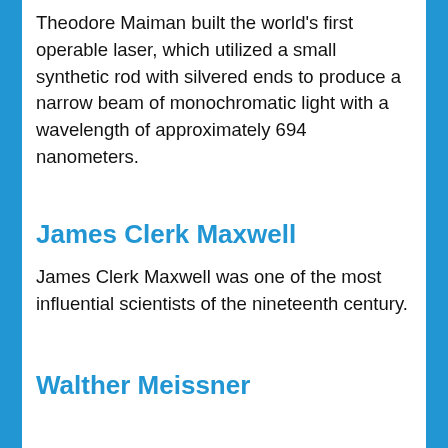Theodore Maiman built the world's first operable laser, which utilized a small synthetic rod with silvered ends to produce a narrow beam of monochromatic light with a wavelength of approximately 694 nanometers.
James Clerk Maxwell
James Clerk Maxwell was one of the most influential scientists of the nineteenth century.
Walther Meissner